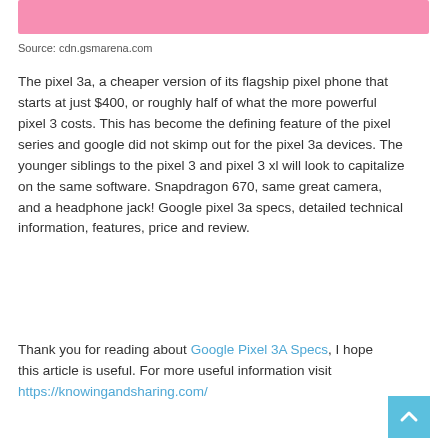[Figure (other): Pink banner/header image strip at the top of the page]
Source: cdn.gsmarena.com
The pixel 3a, a cheaper version of its flagship pixel phone that starts at just $400, or roughly half of what the more powerful pixel 3 costs. This has become the defining feature of the pixel series and google did not skimp out for the pixel 3a devices. The younger siblings to the pixel 3 and pixel 3 xl will look to capitalize on the same software. Snapdragon 670, same great camera, and a headphone jack! Google pixel 3a specs, detailed technical information, features, price and review.
Thank you for reading about Google Pixel 3A Specs, I hope this article is useful. For more useful information visit https://knowingandsharing.com/